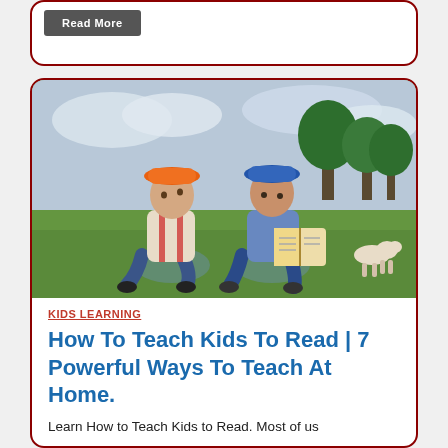[Figure (other): Read More button on a partially visible card with dark red border]
[Figure (photo): Two young boys sitting on grass outdoors. The left boy wears an orange bucket hat and the right boy wears a blue bucket hat. The right boy is reading a book. Trees and a dog are visible in the background.]
KIDS LEARNING
How To Teach Kids To Read | 7 Powerful Ways To Teach At Home.
Learn How to Teach Kids to Read. Most of us